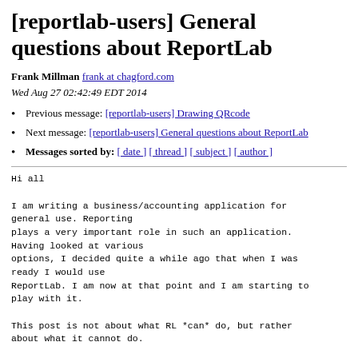[reportlab-users] General questions about ReportLab
Frank Millman frank at chagford.com
Wed Aug 27 02:42:49 EDT 2014
Previous message: [reportlab-users] Drawing QRcode
Next message: [reportlab-users] General questions about ReportLab
Messages sorted by: [ date ] [ thread ] [ subject ] [ author ]
Hi all

I am writing a business/accounting application for general use. Reporting
plays a very important role in such an application. Having looked at various
options, I decided quite a while ago that when I was ready I would use
ReportLab. I am now at that point and I am starting to
play with it.

This post is not about what RL *can* do, but rather
about what it cannot do.